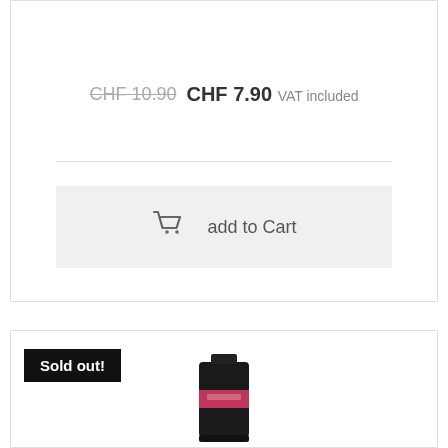CHF 10.90  CHF 7.90 VAT included
[Figure (screenshot): Add to Cart button with shopping cart icon on a light grey background]
Sold out!
[Figure (photo): Product image of a black tube/packaging partially visible at bottom of card]